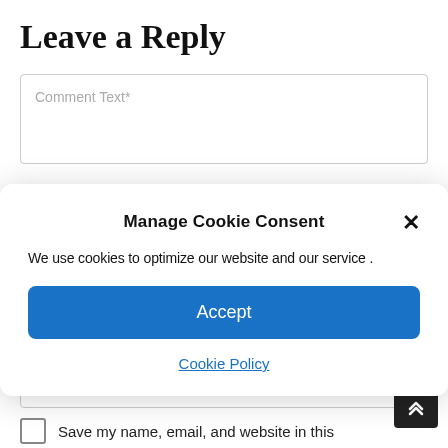Leave a Reply
Comment Text*
Manage Cookie Consent
We use cookies to optimize our website and our service .
Accept
Cookie Policy
Email*
Website
Save my name, email, and website in this